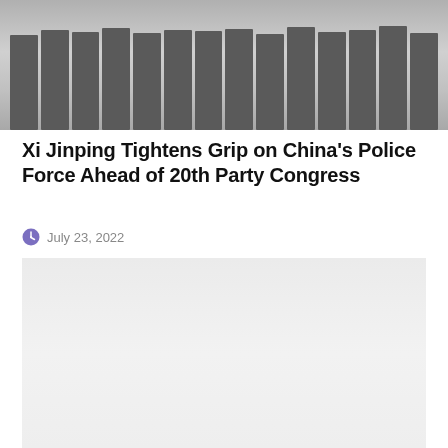[Figure (photo): Black and white photograph showing a row of people, appears to be uniformed individuals standing in a line outdoors]
Xi Jinping Tightens Grip on China's Police Force Ahead of 20th Party Congress
July 23, 2022
[Figure (photo): Second image, appears to be a lighter gray/white partially visible photograph]